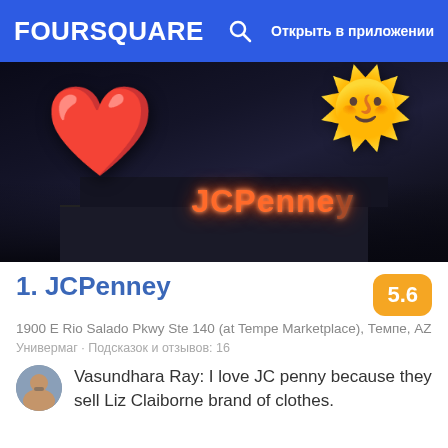FOURSQUARE  Открыть в приложении
[Figure (photo): JCPenney store exterior at night with illuminated orange sign, overlaid with a red heart emoji sticker on the left and a sun emoji sticker on the upper right]
1. JCPenney
1900 E Rio Salado Pkwy Ste 140 (at Tempe Marketplace), Темпе, AZ
Универмаг · Подсказок и отзывов: 16
Vasundhara Ray: I love JC penny because they sell Liz Claiborne brand of clothes.